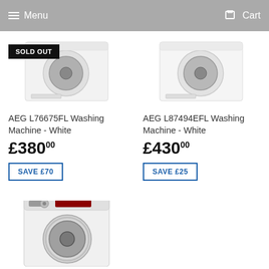Menu | Cart
[Figure (photo): AEG L76675FL Washing Machine - White with SOLD OUT badge overlay]
AEG L76675FL Washing Machine - White
£380.00
SAVE £70
[Figure (photo): AEG L87494EFL Washing Machine - White]
AEG L87494EFL Washing Machine - White
£430.00
SAVE £25
[Figure (photo): Third AEG Washing Machine - partial view at bottom of page]